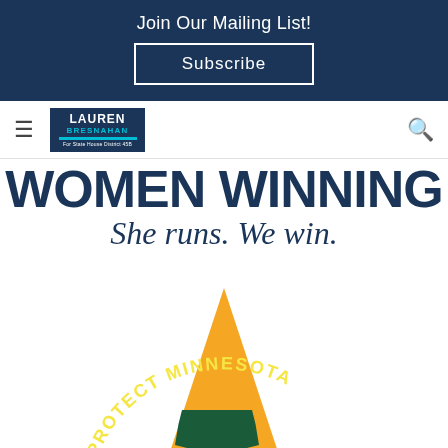Join Our Mailing List!
Subscribe
[Figure (logo): Lauren Bresnahan for State House District 45B campaign logo in dark blue with cyan accent]
WOMEN WINNING
She runs. We win.
[Figure (logo): Protect Minnesota orange star logo with Minnesota state outline and yellow text reading PROTECT MINNESOTA]